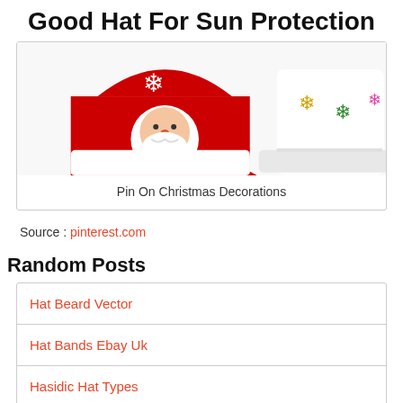Good Hat For Sun Protection
[Figure (photo): Two Christmas/novelty hats: a red Santa hat with a snowflake and Santa face decoration on the left, and a white hat with colorful snowflake decorations on the right.]
Pin On Christmas Decorations
Source : pinterest.com
Random Posts
Hat Beard Vector
Hat Bands Ebay Uk
Hasidic Hat Types
Hard Hat Rack For Vehicle